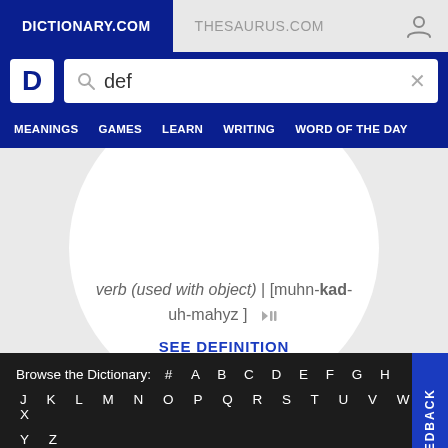DICTIONARY.COM | THESAURUS.COM
def
MEANINGS  GAMES  LEARN  WRITING  WORD OF THE DAY
verb (used with object) | [muhn-kad-uh-mahyz]
SEE DEFINITION
Browse the Dictionary: # A B C D E F G H J K L M N O P Q R S T U V W X Y Z